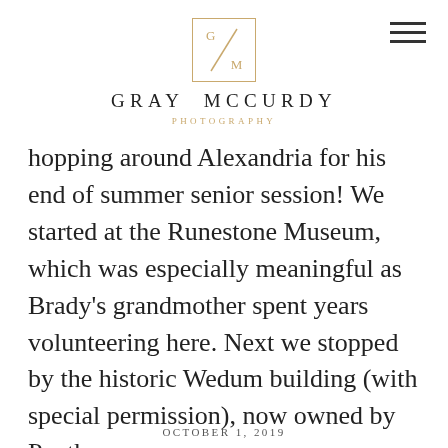[Figure (logo): Gray McCurdy Photography logo: a square border in gold with G and M initials and a diagonal slash, centered at top of page]
GRAY MCCURDY
PHOTOGRAPHY
hopping around Alexandria for his end of summer senior session! We started at the Runestone Museum, which was especially meaningful as Brady's grandmother spent years volunteering here. Next we stopped by the historic Wedum building (with special permission), now owned by Panther
OCTOBER 1, 2019